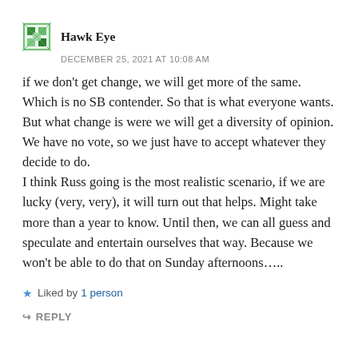Hawk Eye
DECEMBER 25, 2021 AT 10:08 AM
if we don't get change, we will get more of the same. Which is no SB contender. So that is what everyone wants. But what change is were we will get a diversity of opinion.
We have no vote, so we just have to accept whatever they decide to do.
I think Russ going is the most realistic scenario, if we are lucky (very, very), it will turn out that helps. Might take more than a year to know. Until then, we can all guess and speculate and entertain ourselves that way. Because we won't be able to do that on Sunday afternoons…..
Liked by 1 person
REPLY